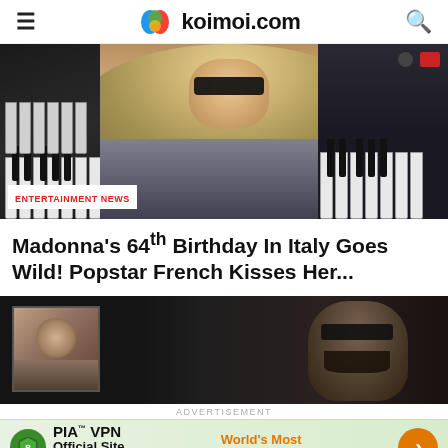koimoi.com
[Figure (photo): Woman with long blonde curly hair and dark sunglasses posing in front of synthesizer keyboards, with an ENTERTAINMENT NEWS label overlay at bottom left]
Madonna's 64th Birthday In Italy Goes Wild! Popstar French Kisses Her...
[Figure (photo): Dark background image with a small framed photo on the left and a bearded man wearing sunglasses on the right]
ADVERTISEMENT
[Figure (infographic): PIA VPN advertisement banner with green shield logo, 'PIA™ VPN Official Site' text, 'World's Most Trusted VPN' in orange, and an orange arrow button]